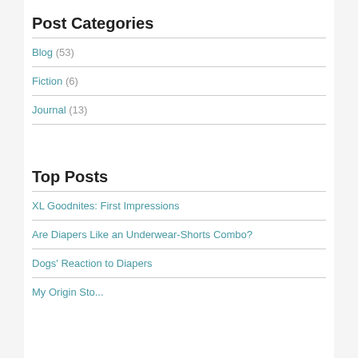Post Categories
Blog (53)
Fiction (6)
Journal (13)
Top Posts
XL Goodnites: First Impressions
Are Diapers Like an Underwear-Shorts Combo?
Dogs' Reaction to Diapers
My Origin Story